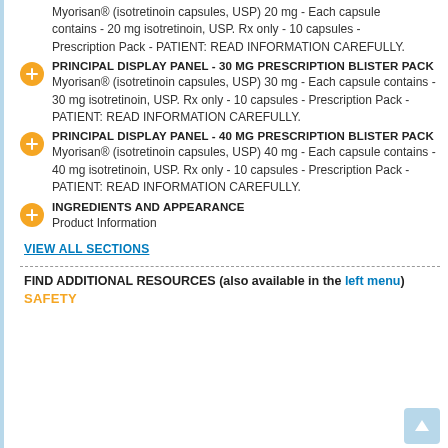Myorisan® (isotretinoin capsules, USP) 20 mg - Each capsule contains - 20 mg isotretinoin, USP. Rx only - 10 capsules - Prescription Pack - PATIENT: READ INFORMATION CAREFULLY.
PRINCIPAL DISPLAY PANEL - 30 MG PRESCRIPTION BLISTER PACK
Myorisan® (isotretinoin capsules, USP) 30 mg - Each capsule contains - 30 mg isotretinoin, USP. Rx only - 10 capsules - Prescription Pack - PATIENT: READ INFORMATION CAREFULLY.
PRINCIPAL DISPLAY PANEL - 40 MG PRESCRIPTION BLISTER PACK
Myorisan® (isotretinoin capsules, USP) 40 mg - Each capsule contains - 40 mg isotretinoin, USP. Rx only - 10 capsules - Prescription Pack - PATIENT: READ INFORMATION CAREFULLY.
INGREDIENTS AND APPEARANCE
Product Information
VIEW ALL SECTIONS
FIND ADDITIONAL RESOURCES (also available in the left menu)
SAFETY